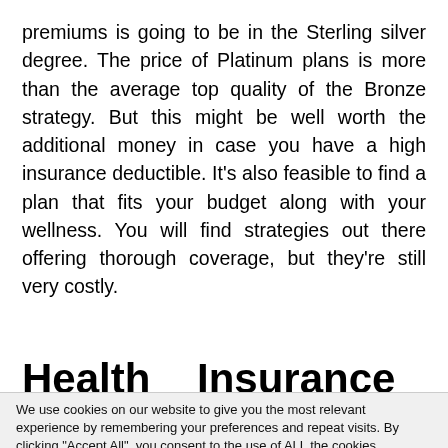premiums is going to be in the Sterling silver degree. The price of Platinum plans is more than the average top quality of the Bronze strategy. But this might be well worth the additional money in case you have a high insurance deductible. It's also feasible to find a plan that fits your budget along with your wellness. You will find strategies out there offering thorough coverage, but they're still very costly.
Health   Insurance   Plans   –
We use cookies on our website to give you the most relevant experience by remembering your preferences and repeat visits. By clicking "Accept All", you consent to the use of ALL the cookies. However, you may visit "Cookie Settings" to provide a controlled consent.